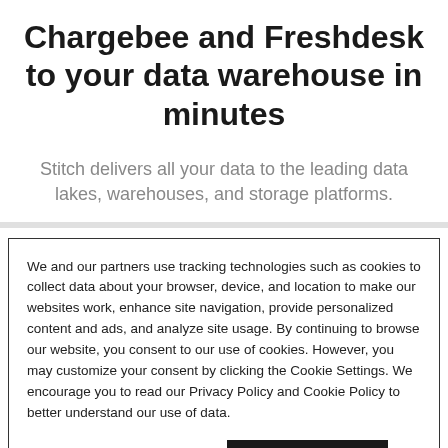Chargebee and Freshdesk to your data warehouse in minutes
Stitch delivers all your data to the leading data lakes, warehouses, and storage platforms.
We and our partners use tracking technologies such as cookies to collect data about your browser, device, and location to make our websites work, enhance site navigation, provide personalized content and ads, and analyze site usage. By continuing to browse our website, you consent to our use of cookies. However, you may customize your consent by clicking the Cookie Settings. We encourage you to read our Privacy Policy and Cookie Policy to better understand our use of data.
Cookie Settings | Accept Cookies